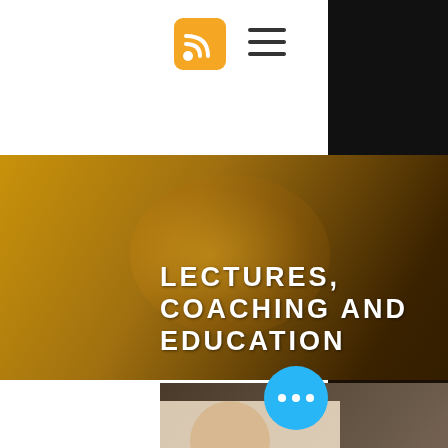[Figure (logo): RSS feed icon — orange rounded square with white RSS signal symbol]
[Figure (other): Hamburger menu icon — three horizontal dark lines]
LECTURES, COACHING AND EDUCATION
[Figure (photo): A man in a blue shirt wearing glasses holding hands with another person in a red top, in an art studio setting with framed pictures on the wall]
Art & Wellbeing coaching